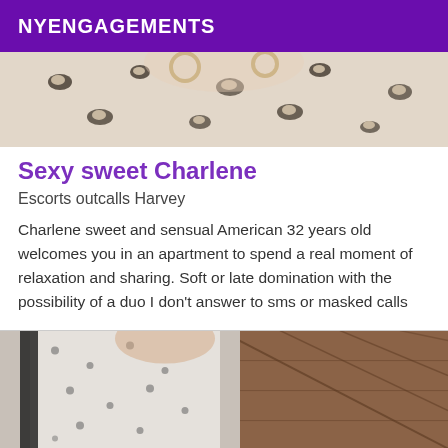NYENGAGEMENTS
[Figure (photo): Top portion of a photo showing a person wearing a leopard print top, cropped at the torso/shoulder area]
Sexy sweet Charlene
Escorts outcalls Harvey
Charlene sweet and sensual American 32 years old welcomes you in an apartment to spend a real moment of relaxation and sharing. Soft or late domination with the possibility of a duo I don't answer to sms or masked calls
[Figure (photo): Bottom photo showing a person wearing a white polka dot top, partial torso view with a wooden floor visible in the background]